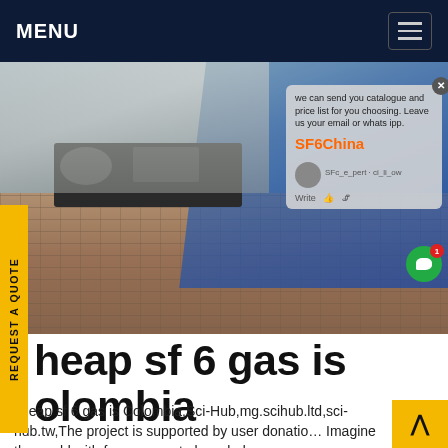MENU
[Figure (photo): A technician in blue workwear crouching over electrical/gas testing equipment placed on a brick paved surface outdoors. SF6 gas measurement equipment visible.]
we can send you catalogue and price list for you choosing. Leave us your email or whatsapp. SF6China
cheap sf 6 gas is colombia
cheap sf 6 gas is Colombia,Sci-Hub,mg.scihub.ltd,sci-hub.tw,The project is supported by user donations. Imagine the world with free access to knowledge